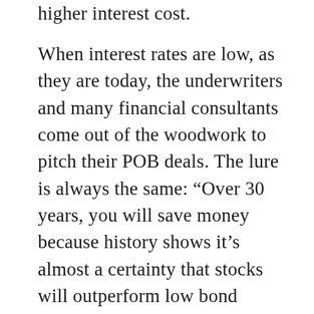higher interest cost.
When interest rates are low, as they are today, the underwriters and many financial consultants come out of the woodwork to pitch their POB deals. The lure is always the same: “Over 30 years, you will save money because history shows it’s almost a certainty that stocks will outperform low bond yields,” even if they are now taxable. I’ve written extensively on the foreseeable cyclical risks of selling POBs when the stock market is trading at record high levels: The underwriters and deal-peddlers will sneak away with their fees